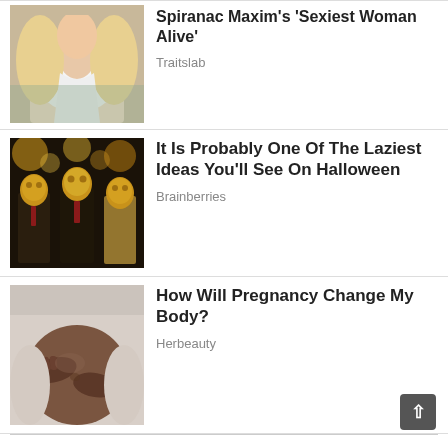[Figure (photo): Partial view of a blonde woman in a white top (article thumbnail)]
Spiranac Maxim's 'Sexiest Woman Alive'
Traitslab
[Figure (photo): Three men in suits wearing golden animal (lion/cat) masks]
It Is Probably One Of The Laziest Ideas You'll See On Halloween
Brainberries
[Figure (photo): Close-up of a pregnant woman holding her belly, wearing a light-colored sweater]
How Will Pregnancy Change My Body?
Herbeauty
“You are worthless!”
This is possibly the worst thing you can say to a child. Especially when you are the person and the mental figure they expect most of to be given approval of. By saying this, you are putting your child on a never ending journey to seek approval from the outside